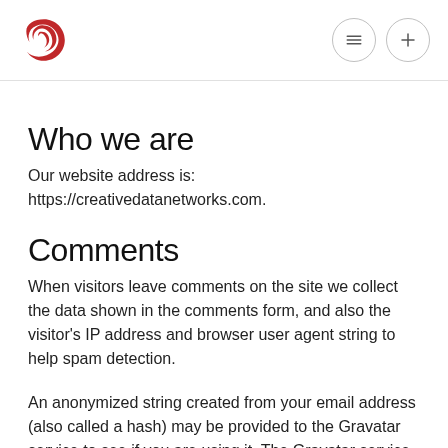Creative Data Networks logo and navigation icons
Who we are
Our website address is: https://creativedatanetworks.com.
Comments
When visitors leave comments on the site we collect the data shown in the comments form, and also the visitor's IP address and browser user agent string to help spam detection.
An anonymized string created from your email address (also called a hash) may be provided to the Gravatar service to see if you are using it. The Gravatar service privacy policy is available